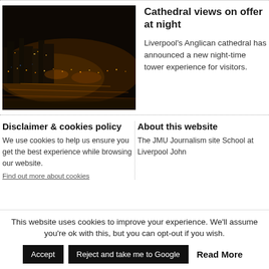[Figure (photo): Aerial night-time photograph of Liverpool city with lights visible across the skyline and streets]
Cathedral views on offer at night
Liverpool's Anglican cathedral has announced a new night-time tower experience for visitors.
Disclaimer & cookies policy
We use cookies to help us ensure you get the best experience while browsing our website.
Find out more about cookies
About this website
The JMU Journalism site School at Liverpool John
This website uses cookies to improve your experience. We'll assume you're ok with this, but you can opt-out if you wish.
Accept
Reject and take me to Google
Read More